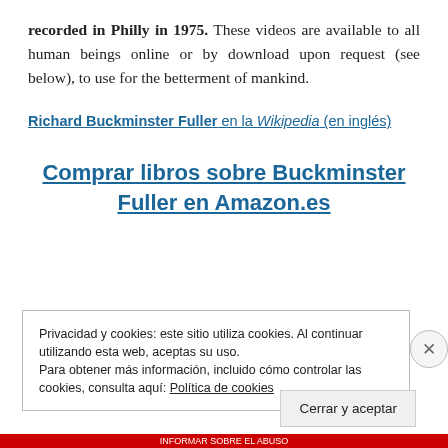recorded in Philly in 1975. These videos are available to all human beings online or by download upon request (see below), to use for the betterment of mankind.
Richard Buckminster Fuller en la Wikipedia (en inglés)
Comprar libros sobre Buckminster Fuller en Amazon.es
Privacidad y cookies: este sitio utiliza cookies. Al continuar utilizando esta web, aceptas su uso.
Para obtener más información, incluido cómo controlar las cookies, consulta aquí: Política de cookies
Cerrar y aceptar